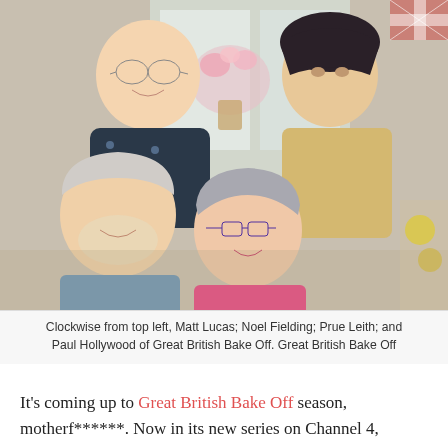[Figure (photo): Group photo of Matt Lucas, Noel Fielding, Prue Leith, and Paul Hollywood from Great British Bake Off, posing together indoors with flowers in the background.]
Clockwise from top left, Matt Lucas; Noel Fielding; Prue Leith; and Paul Hollywood of Great British Bake Off. Great British Bake Off
It's coming up to Great British Bake Off season, motherf******. Now in its new series on Channel 4, GBBO's impeccable mixture of 'British' cakes, bakes, and puddings; risible puns; Paul Hollywood's blue steel eyes; and a massive tent is likely never going to collapse. Here's everything you need to know about Great British Bake